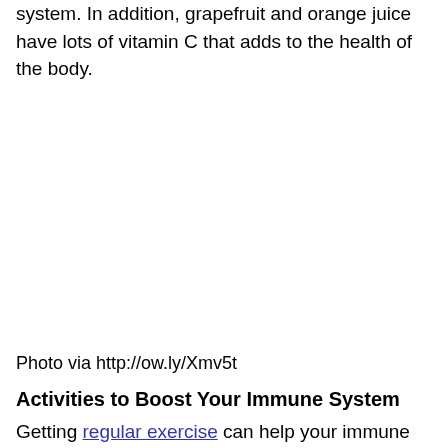system. In addition, grapefruit and orange juice have lots of vitamin C that adds to the health of the body.
Photo via http://ow.ly/Xmv5t
Activities to Boost Your Immune System
Getting regular exercise can help your immune system to fight off infections like colds and the flu. Doing exercise is